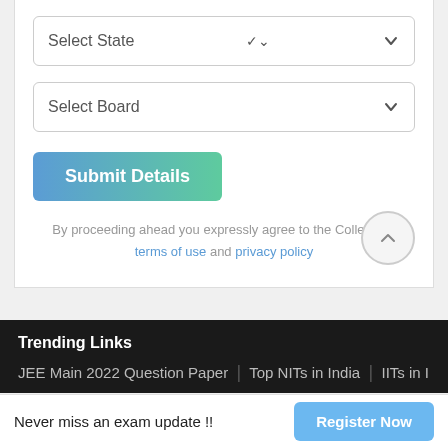[Figure (screenshot): Select State dropdown box with chevron]
[Figure (screenshot): Select Board dropdown box with chevron]
[Figure (screenshot): Submit Details button with blue-to-green gradient]
By proceeding ahead you expressly agree to the CollegeDe terms of use and privacy policy
Trending Links
JEE Main 2022 Question Paper | Top NITs in India | IITs in India |
Never miss an exam update !!
[Figure (screenshot): Register Now button in blue]